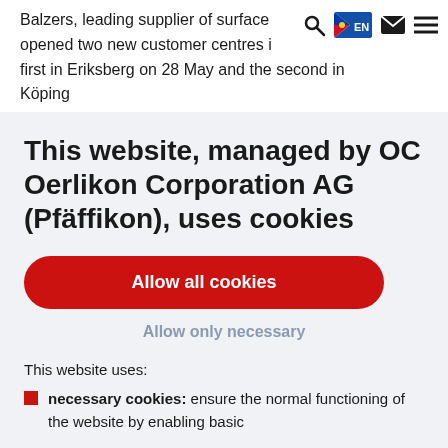Balzers, leading supplier of surface opened two new customer centres i first in Eriksberg on 28 May and the second in Köping
This website, managed by OC Oerlikon Corporation AG (Pfäffikon), uses cookies
Allow all cookies
Allow only necessary
This website uses:
necessary cookies: ensure the normal functioning of the website by enabling basic